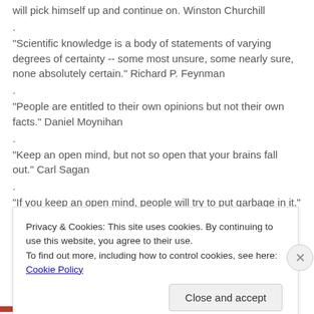will pick himself up and continue on.  Winston Churchill
.
"Scientific knowledge is a body of statements of varying degrees of certainty -- some most unsure, some nearly sure, none absolutely certain." Richard P. Feynman
.
"People are entitled to their own opinions but not their own facts." Daniel Moynihan
.
"Keep an open mind, but not so open that your brains fall out." Carl Sagan
.
"If you keep an open mind, people will try to put garbage in it." Albert Einstein
Privacy & Cookies: This site uses cookies. By continuing to use this website, you agree to their use.
To find out more, including how to control cookies, see here: Cookie Policy